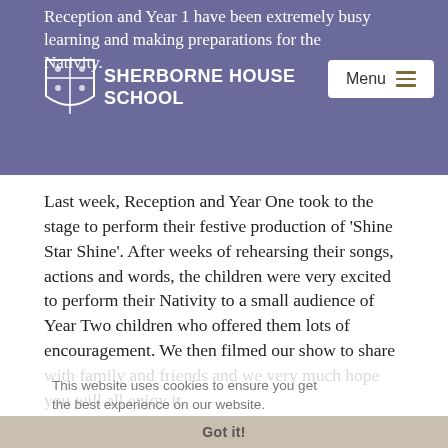Reception and Year 1 have been extremely busy learning and making preparations for the Nativity.
[Figure (logo): Sherborne House School logo with shield emblem and school name in white on purple header bar]
Last week, Reception and Year One took to the stage to perform their festive production of 'Shine Star Shine'. After weeks of rehearsing their songs, actions and words, the children were very excited to perform their Nativity to a small audience of Year Two children who offered them lots of encouragement. We then filmed our show to share with family and friends and we very much hope you will all enjoy it.

The children created the set themselves during their art lessons. Reception sponge painted the hills and made their own magical glittery stars for the night sky for the shepherds and kings to follow. They also created the animals for the stable. The
This website uses cookies to ensure you get the best experience on our website.
Learn more
Got it!